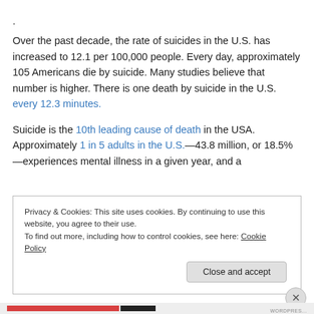.
Over the past decade, the rate of suicides in the U.S. has increased to 12.1 per 100,000 people. Every day, approximately 105 Americans die by suicide. Many studies believe that number is higher. There is one death by suicide in the U.S. every 12.3 minutes.
Suicide is the 10th leading cause of death in the USA. Approximately 1 in 5 adults in the U.S.—43.8 million, or 18.5%—experiences mental illness in a given year, and a
Privacy & Cookies: This site uses cookies. By continuing to use this website, you agree to their use.
To find out more, including how to control cookies, see here: Cookie Policy